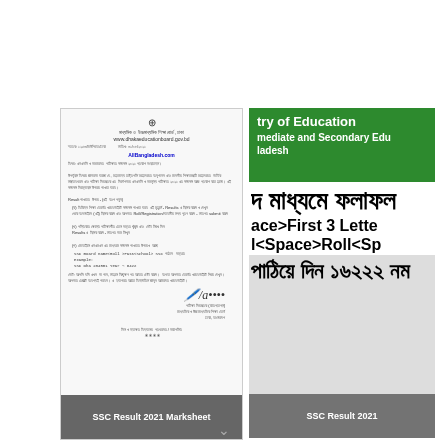[Figure (screenshot): SSC Result 2021 Marksheet - Official document from Bangladesh Secondary and Higher Secondary Education Board with header, body text in Bengali, URL AllBangladesh.com, and signature area]
SSC Result 2021 Marksheet
[Figure (screenshot): SSC Result 2021 - Ministry of Education Bangladesh webpage showing green header with 'Ministry of Education', 'Intermediate and Secondary Education Bangladesh', Bengali text for SSC result instructions, and SMS instruction text with <Space> placeholders]
SSC Result 2021